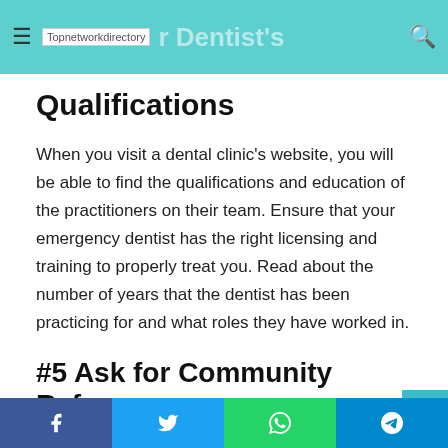Topnetworkdirectory — Ask Your Dentist's Qualifications
Qualifications
When you visit a dental clinic's website, you will be able to find the qualifications and education of the practitioners on their team. Ensure that your emergency dentist has the right licensing and training to properly treat you. Read about the number of years that the dentist has been practicing for and what roles they have worked in.
#5 Ask for Community References
Many local websites, newspapers, and magazines advertise dental clinics in the area. Take your time looking through these to see if you can find a good clinic that sounds like it may be suited to your needs. Another great way to find a good dentist
Facebook  Twitter  WhatsApp  Telegram